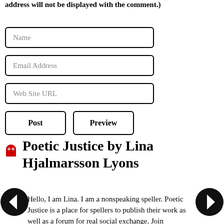address will not be displayed with the comment.)
[Figure (screenshot): Web form with fields: Name, Email Address, Web Site URL, and two buttons: Post and Preview]
Poetic Justice by Lina Hjalmarsson Lyons
Hello, I am Lina. I am a nonspeaking speller. Poetic Justice is a place for spellers to publish their work as well as a forum for real social exchange. Join